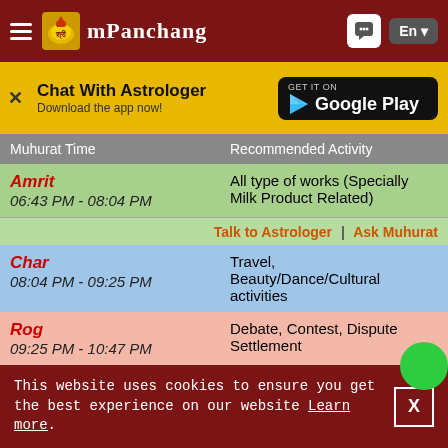mPanchang
Chat With Astrologer
Download the app now!
| Muhurat Time | Recommended Activity |
| --- | --- |
| Amrit
06:43 PM - 08:04 PM | All type of works (Specially Milk Product Related) |
|  | Talk to Astrologer | Ask Muhurat |
| Char
08:04 PM - 09:25 PM | Travel, Beauty/Dance/Cultural activities |
| Rog
09:25 PM - 10:47 PM | Debate, Contest, Dispute Settlement |
| Kaal
10:47 PM - 12:08 AM 01 | Machine, Construction and Agriculture related act... |
This website uses cookies to ensure you get the best experience on our website Learn more.